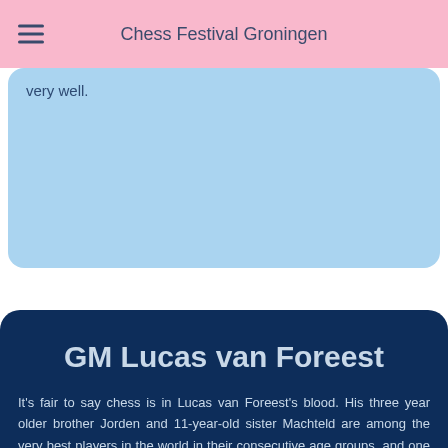Chess Festival Groningen
very well.
GM Lucas van Foreest
It's fair to say chess is in Lucas van Foreest's blood. His three year older brother Jorden and 11-year-old sister Machteld are among the very best players in the world in their consecutive age groups, and one could say the same from Lucas (age 17, rating 2499). His great-great grandfathers Dirk and Arnold became Dutch champions as well as Jorden, one thing Lucas wants to become one day